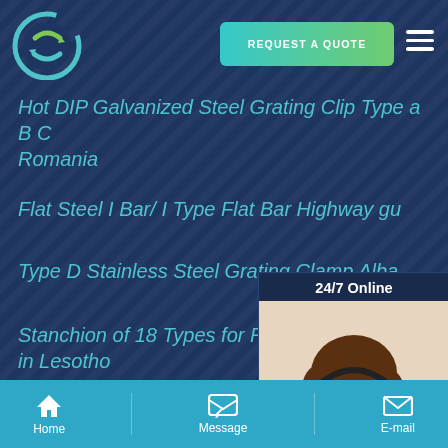REQUEST A QUOTE
[Figure (logo): Company logo - circular icon with arrows in green and blue teal colors]
Hot DIP Galvanized Steel Grating Clip Type a B C Romania
Flat Steel I Bar/ I Type Flat Bar Highway gu...
Type D Stainless Steel Grating Clamp Alba...
Stanchion of 18 Types for Railing for natio... in Lesotho
Plain Type Steel Grating/Smooth Steel Gra... Guinea-Bissau
[Figure (photo): 24/7 Online support agent - woman wearing headset smiling, with text 'Have any requests, click here.' and orange Quotation button]
Home  Message  E-mail